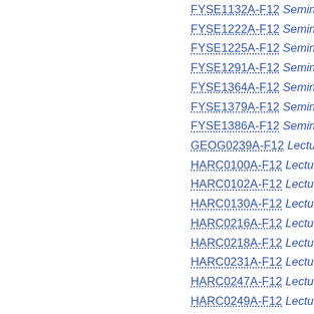FYSE1132A-F12 Seminar (Hambe...
FYSE1222A-F12 Seminar (Draper)
FYSE1225A-F12 Seminar (Grindo...
FYSE1291A-F12 Seminar (Skubiko...
FYSE1364A-F12 Seminar (Campb...
FYSE1379A-F12 Seminar (Vazque...
FYSE1386A-F12 Seminar (Rocha)
GEOG0239A-F12 Lecture (Knowle...
HARC0100A-F12 Lecture (Broucke...
HARC0102A-F12 Lecture (Packert...
HARC0130A-F12 Lecture (Kredell)
HARC0216A-F12 Lecture (Garrison...
HARC0218A-F12 Lecture (Hoving)
HARC0231A-F12 Lecture (Murray)
HARC0247A-F12 Lecture (Hoving)
HARC0249A-F12 Lecture (Fujikawa...
HARC0260A-F12 Lecture (Vazque...
HARC0328A-F12 Lecture (Fujikawa...
HARC0330A-F12 Lecture (Cox)
HARC0339A-F12 Lecture (Sassin)
MUSC0160A-F12 Lecture (Huard)
MUSC0205A-F12 Lecture (Massey...
MUSC0205B-F12 Lecture (Buettne...